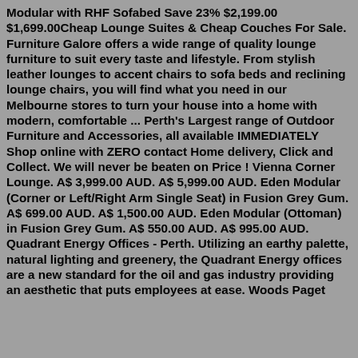Modular with RHF Sofabed Save 23% $2,199.00 $1,699.00Cheap Lounge Suites & Cheap Couches For Sale. Furniture Galore offers a wide range of quality lounge furniture to suit every taste and lifestyle. From stylish leather lounges to accent chairs to sofa beds and reclining lounge chairs, you will find what you need in our Melbourne stores to turn your house into a home with modern, comfortable ... Perth's Largest range of Outdoor Furniture and Accessories, all available IMMEDIATELY Shop online with ZERO contact Home delivery, Click and Collect. We will never be beaten on Price ! Vienna Corner Lounge. A$ 3,999.00 AUD. A$ 5,999.00 AUD. Eden Modular (Corner or Left/Right Arm Single Seat) in Fusion Grey Gum. A$ 699.00 AUD. A$ 1,500.00 AUD. Eden Modular (Ottoman) in Fusion Grey Gum. A$ 550.00 AUD. A$ 995.00 AUD. Quadrant Energy Offices - Perth. Utilizing an earthy palette, natural lighting and greenery, the Quadrant Energy offices are a new standard for the oil and gas industry providing an aesthetic that puts employees at ease. Woods Paget